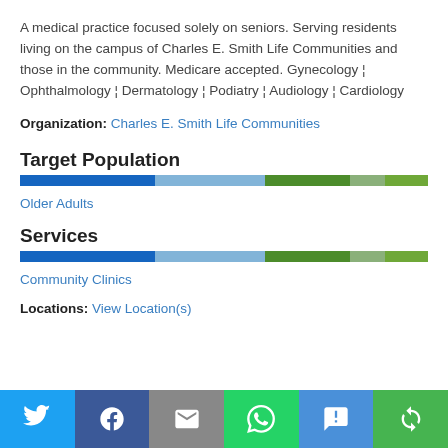A medical practice focused solely on seniors. Serving residents living on the campus of Charles E. Smith Life Communities and those in the community. Medicare accepted. Gynecology ¦ Ophthalmology ¦ Dermatology ¦ Podiatry ¦ Audiology ¦ Cardiology
Organization: Charles E. Smith Life Communities
Target Population
Older Adults
Services
Community Clinics
Locations: View Location(s)
[Figure (infographic): Social sharing footer bar with Twitter, Facebook, Email, WhatsApp, SMS, and Share buttons on colored backgrounds with white icons]